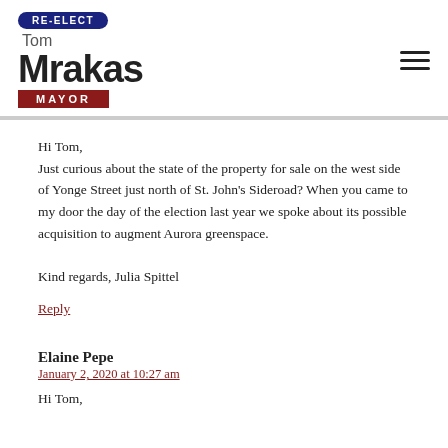[Figure (logo): Re-elect Tom Mrakas Mayor campaign logo with blue RE-ELECT badge, large bold Mrakas name, and dark red MAYOR badge]
Hi Tom,
Just curious about the state of the property for sale on the west side of Yonge Street just north of St. John's Sideroad? When you came to my door the day of the election last year we spoke about its possible acquisition to augment Aurora greenspace.

Kind regards, Julia Spittel
Reply
Elaine Pepe
January 2, 2020 at 10:27 am
Hi Tom,